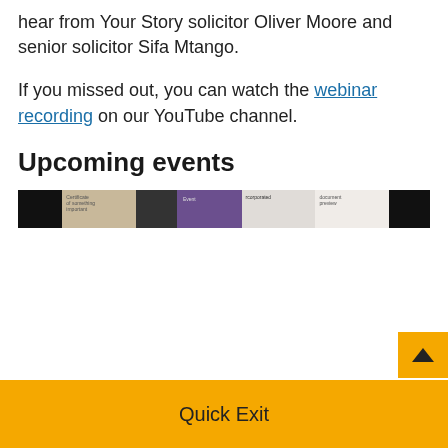hear from Your Story solicitor Oliver Moore and senior solicitor Sifa Mtango.
If you missed out, you can watch the webinar recording on our YouTube channel.
Upcoming events
[Figure (photo): A horizontal strip of thumbnail images showing various webinar/event screenshots including dark panels, documents, and presentations on a teal background.]
Quick Exit